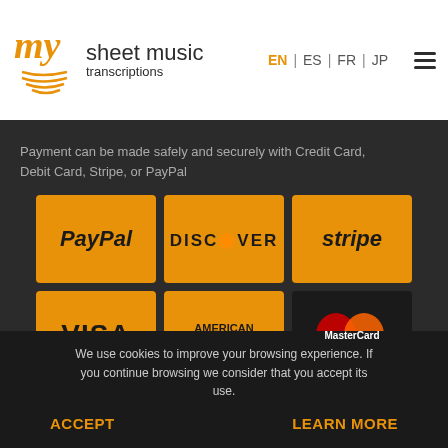[Figure (logo): My Sheet Music Transcriptions logo with orange 'my' script and text]
EN | ES | FR | JP
Payment can be made safely and securely with Credit Card, Debit Card, Stripe, or PayPal
[Figure (infographic): Payment method icons: PayPal, Discover, Stripe, Visa, American Express, MasterCard on orange/dark backgrounds]
Terms of use
We use cookies to improve your browsing experience. If you continue browsing we consider that you accept its use.
ACCEPT
LEARN MORE